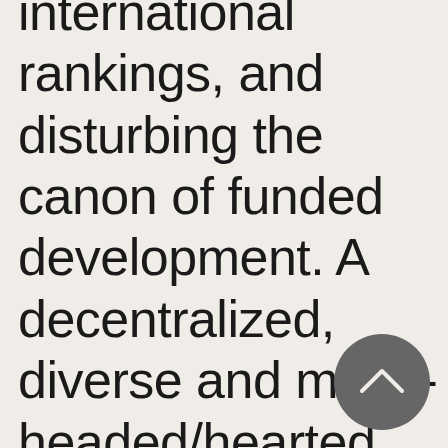international rankings, and disturbing the canon of funded development. A decentralized, diverse and many-headed/hearted localization movement
[Figure (illustration): A dark gray circular button with a white upward-pointing chevron/caret icon in the center, used as a scroll-to-top navigation button.]